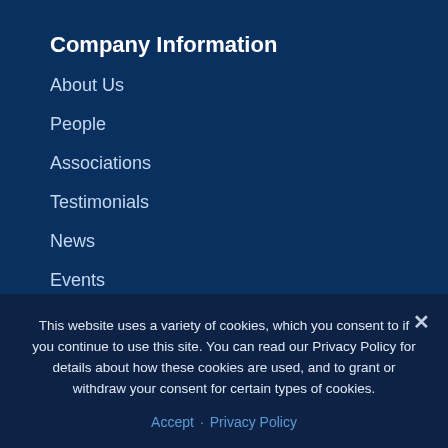Company Information
About Us
People
Associations
Testimonials
News
Events
Careers
Connect with Hydra-Flex
Stay Up...
Subscribe to our Newsletter
This website uses a variety of cookies, which you consent to if you continue to use this site. You can read our Privacy Policy for details about how these cookies are used, and to grant or withdraw your consent for certain types of cookies.
Accept · Privacy Policy